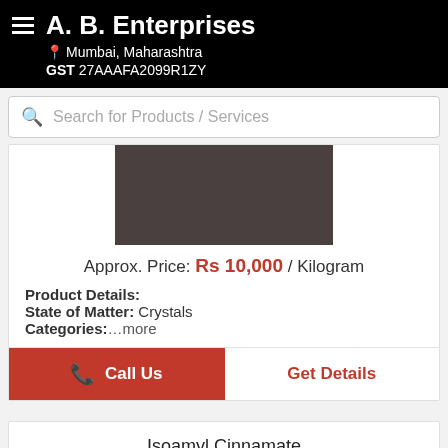A. B. Enterprises
Mumbai, Maharashtra
GST 27AAAFA2099R1ZY
Search for Products / Services
[Figure (photo): Product image placeholder showing a dark brownish-gray rectangle]
Approx. Price: Rs 10,000 / Kilogram
Product Details:
State of Matter: Crystals
Categories: ...more
Call Us
Get Details
Isoamyl Cinnamate